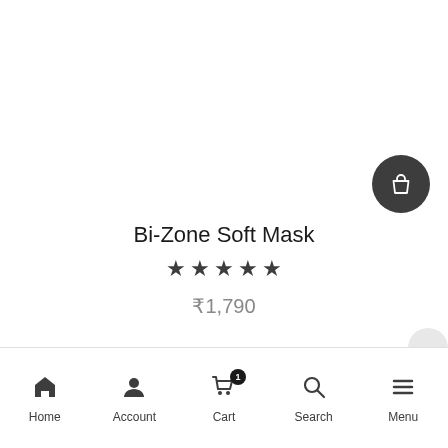[Figure (illustration): Shopping bag icon button (dark circular button with white bag icon) in upper right area of product page]
Bi-Zone Soft Mask
★★★★★ (5 stars)
₹1,790
Home | Account | Cart (1) | Search | Menu